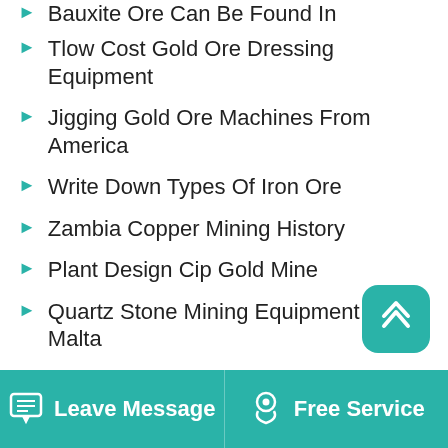Bauxite Ore Can Be Found In
Tlow Cost Gold Ore Dressing Equipment
Jigging Gold Ore Machines From America
Write Down Types Of Iron Ore
Zambia Copper Mining History
Plant Design Cip Gold Mine
Quartz Stone Mining Equipment In Malta
Mobile Por Le Mining Equipment
Gold Ore Particle Sizes
Gold Ore Dressing Tautona Anglo Gold Mine Project
Limestone Mining In Bal…
Leave Message   Free Service